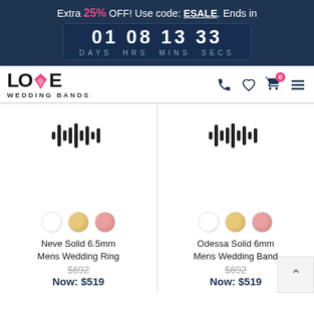Extra 25% OFF! Use code: ESALE. Ends in 01 08 13 33 DAYS HRS MINS SECS
[Figure (logo): Love Wedding Bands logo with pink diamond gem in the letter V]
[Figure (illustration): Navigation icons: phone, heart, cart with badge 0, hamburger menu]
[Figure (illustration): Product card 1: waveform/loading placeholder icon, three color swatches (white, gold, rose), product name Neve Solid 6.5mm Mens Wedding Ring, price $692 / Now: $519]
[Figure (illustration): Product card 2: waveform/loading placeholder icon, three color swatches (white, gold, rose), product name Odessa Solid 6mm Mens Wedding Band, price $692 / Now: $519 (partially cut off)]
Neve Solid 6.5mm Mens Wedding Ring
$692
Now: $519
Odessa Solid 6mm Mens Wedding Band
$692
Now: $519